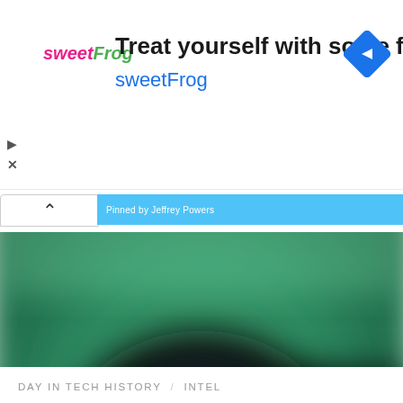[Figure (screenshot): Advertisement banner for sweetFrog frozen yogurt. Shows sweetFrog logo on left, headline 'Treat yourself with some froyo', subline 'sweetFrog', and a blue diamond navigation icon on the right.]
[Figure (screenshot): Browser navigation bar with back button (caret/chevron up), a blue toolbar, and a label 'Pinned by Jeffrey Powers']
[Figure (photo): Blurred close-up photograph of a green circuit board (PCB) with a dark circular component in the center, likely an Intel chip or processor.]
DAY IN TECH HISTORY / INTEL